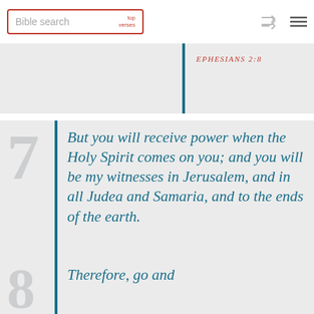Bible search | top verses
EPHESIANS 2:8
7 But you will receive power when the Holy Spirit comes on you; and you will be my witnesses in Jerusalem, and in all Judea and Samaria, and to the ends of the earth.
ACTS 1:8
8 Therefore, go and...